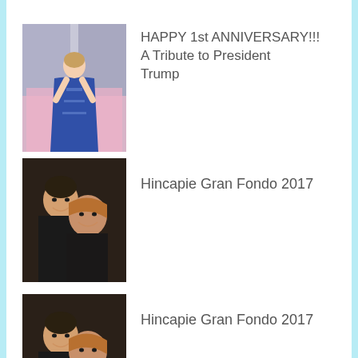[Figure (photo): Woman in blue gown on a city street]
HAPPY 1st ANNIVERSARY!!! A Tribute to President Trump
[Figure (photo): Two people smiling, man and woman, close up]
Hincapie Gran Fondo 2017
[Figure (photo): Two people smiling, man and woman, close up (duplicate)]
Hincapie Gran Fondo 2017